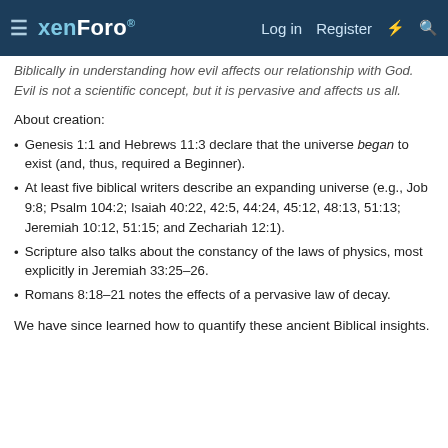xenForo | Log in | Register
Biblically in understanding how evil affects our relationship with God. Evil is not a scientific concept, but it is pervasive and affects us all.
About creation:
Genesis 1:1 and Hebrews 11:3 declare that the universe began to exist (and, thus, required a Beginner).
At least five biblical writers describe an expanding universe (e.g., Job 9:8; Psalm 104:2; Isaiah 40:22, 42:5, 44:24, 45:12, 48:13, 51:13; Jeremiah 10:12, 51:15; and Zechariah 12:1).
Scripture also talks about the constancy of the laws of physics, most explicitly in Jeremiah 33:25–26.
Romans 8:18–21 notes the effects of a pervasive law of decay.
We have since learned how to quantify these ancient Biblical insights.